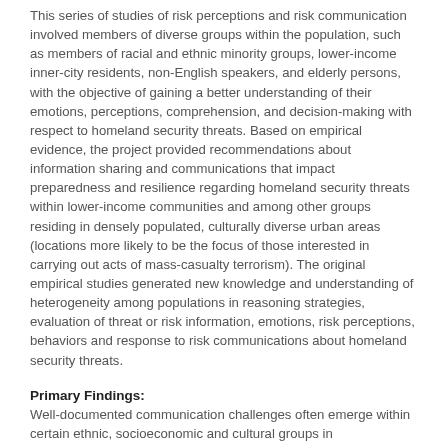This series of studies of risk perceptions and risk communication involved members of diverse groups within the population, such as members of racial and ethnic minority groups, lower-income inner-city residents, non-English speakers, and elderly persons, with the objective of gaining a better understanding of their emotions, perceptions, comprehension, and decision-making with respect to homeland security threats. Based on empirical evidence, the project provided recommendations about information sharing and communications that impact preparedness and resilience regarding homeland security threats within lower-income communities and among other groups residing in densely populated, culturally diverse urban areas (locations more likely to be the focus of those interested in carrying out acts of mass-casualty terrorism). The original empirical studies generated new knowledge and understanding of heterogeneity among populations in reasoning strategies, evaluation of threat or risk information, emotions, risk perceptions, behaviors and response to risk communications about homeland security threats.
Primary Findings:
Well-documented communication challenges often emerge within certain ethnic, socioeconomic and cultural groups in